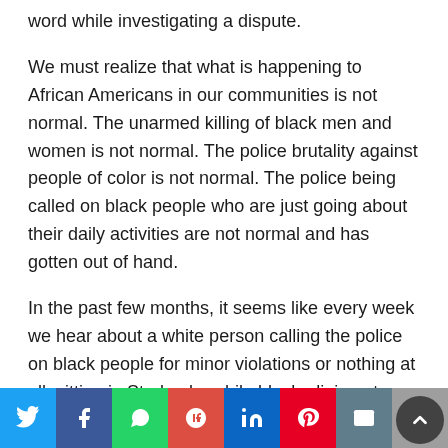word while investigating a dispute.
We must realize that what is happening to African Americans in our communities is not normal. The unarmed killing of black men and women is not normal. The police brutality against people of color is not normal. The police being called on black people who are just going about their daily activities are not normal and has gotten out of hand.
In the past few months, it seems like every week we hear about a white person calling the police on black people for minor violations or nothing at all—sitting in Starbucks while black, dining at Waffle House while black, driving while black, shopping at CVS while blac…
Social share bar: Twitter, Facebook, WhatsApp, Google+, LinkedIn, Pinterest, Email, Print